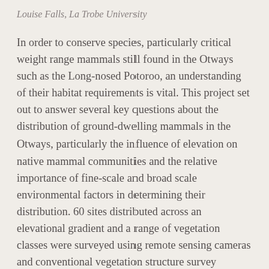Louise Falls, La Trobe University
In order to conserve species, particularly critical weight range mammals still found in the Otways such as the Long-nosed Potoroo, an understanding of their habitat requirements is vital. This project set out to answer several key questions about the distribution of ground-dwelling mammals in the Otways, particularly the influence of elevation on native mammal communities and the relative importance of fine-scale and broad scale environmental factors in determining their distribution. 60 sites distributed across an elevational gradient and a range of vegetation classes were surveyed using remote sensing cameras and conventional vegetation structure survey techniques with statistical analysis being undertaken at both a